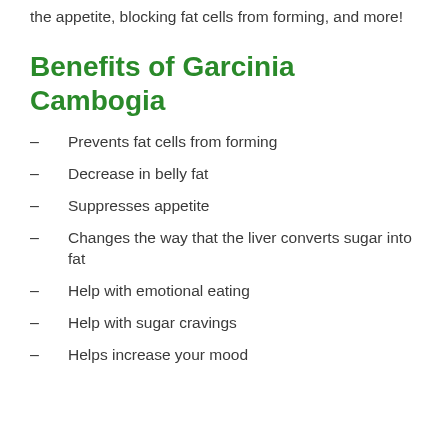the appetite, blocking fat cells from forming, and more!
Benefits of Garcinia Cambogia
Prevents fat cells from forming
Decrease in belly fat
Suppresses appetite
Changes the way that the liver converts sugar into fat
Help with emotional eating
Help with sugar cravings
Helps increase your mood